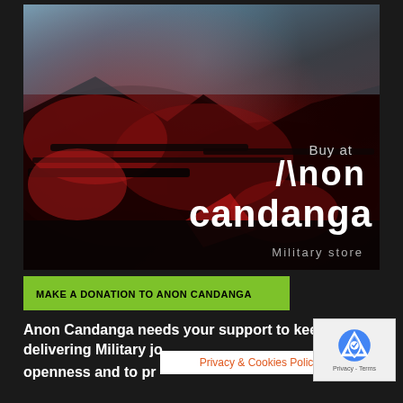[Figure (photo): Dark military-themed image with soldiers/weapons silhouetted in red and black tones, with text overlay reading 'Buy at Anon candanga Military store']
MAKE A DONATION TO ANON CANDANGA
Anon Candanga needs your support to keep delivering Military jo... in o... openness and to pr...
Privacy & Cookies Policy